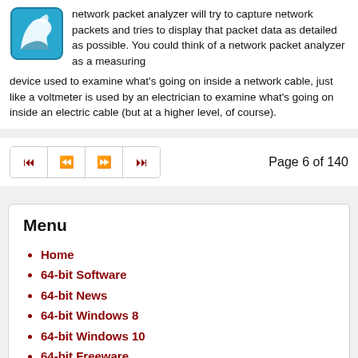[Figure (logo): Blue Wireshark shark fin logo icon]
network packet analyzer will try to capture network packets and tries to display that packet data as detailed as possible. You could think of a network packet analyzer as a measuring device used to examine what's going on inside a network cable, just like a voltmeter is used by an electrician to examine what's going on inside an electric cable (but at a higher level, of course).
Page 6 of 140
Menu
Home
64-bit Software
64-bit News
64-bit Windows 8
64-bit Windows 10
64-bit Freeware